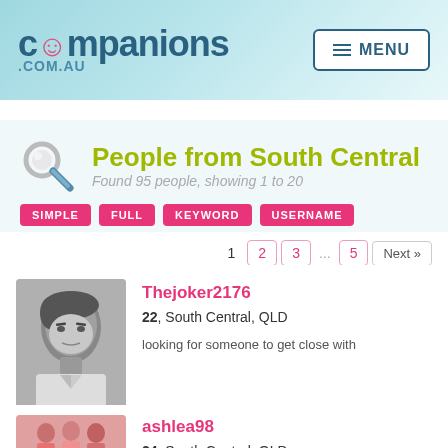companions .COM.AU | MENU
People from South Central
Found 95 people, showing 1 to 20
SIMPLE | FULL | KEYWORD | USERNAME
1  2  3  ...  5  Next »
Thejoker2176
22, South Central, QLD
looking for someone to get close with
ashlea98
24, South Central, QLD